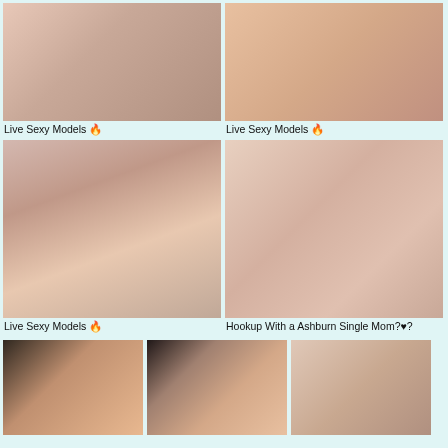[Figure (photo): Thumbnail image of a person with tattoos]
Live Sexy Models 🔥
[Figure (photo): Thumbnail close-up image]
Live Sexy Models 🔥
[Figure (photo): Thumbnail image of a blonde person with tattoos]
Live Sexy Models 🔥
[Figure (photo): Thumbnail image of a person in pink shorts]
Hookup With a Ashburn Single Mom?♥?
[Figure (photo): Thumbnail image, two people on couch]
[Figure (photo): Thumbnail image, group scene on couch]
[Figure (photo): Thumbnail image, intimate scene]